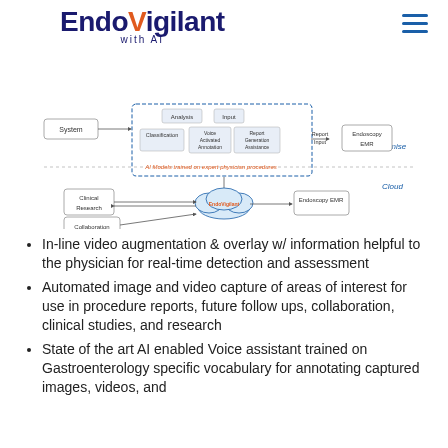[Figure (logo): EndoVigilant with AI logo — 'Endo' and 'igilant' in dark navy, 'V' in orange, 'with AI' subtitle below in navy]
[Figure (flowchart): System architecture flowchart showing On Premise components (System, Classification, Voice Activated Annotation, Report Generation Assistance, Endoscopy EMR) and Cloud components (Clinical Research, Collaboration, EndoVigilant cloud, Endoscopy EMR). Text note: AI Models trained on expert physician procedures.]
In-line video augmentation & overlay w/ information helpful to the physician for real-time detection and assessment
Automated image and video capture of areas of interest for use in procedure reports, future follow ups, collaboration, clinical studies, and research
State of the art AI enabled Voice assistant trained on Gastroenterology specific vocabulary for annotating captured images, videos, and